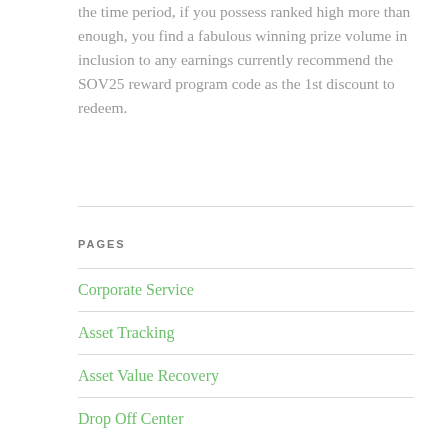the time period, if you possess ranked high more than enough, you find a fabulous winning prize volume in inclusion to any earnings currently recommend the SOV25 reward program code as the 1st discount to redeem.
PAGES
Corporate Service
Asset Tracking
Asset Value Recovery
Drop Off Center